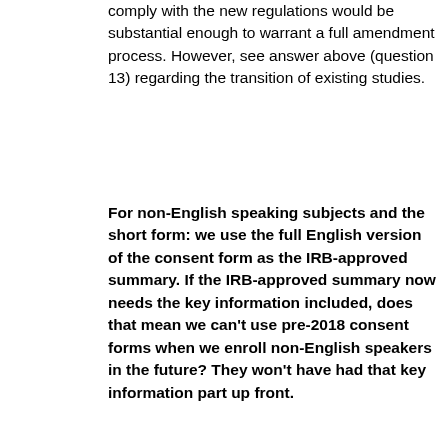comply with the new regulations would be substantial enough to warrant a full amendment process. However, see answer above (question 13) regarding the transition of existing studies.
For non-English speaking subjects and the short form: we use the full English version of the consent form as the IRB-approved summary. If the IRB-approved summary now needs the key information included, does that mean we can't use pre-2018 consent forms when we enroll non-English speakers in the future? They won't have had that key information part up front.
PM: For research initiated prior to January 19, 2018, your institution could choose to not migrate those studies to the new regulations, in which case you would not need to revise your short form or summary. For research approved after January 19, 2018 the summary would need to include the key information